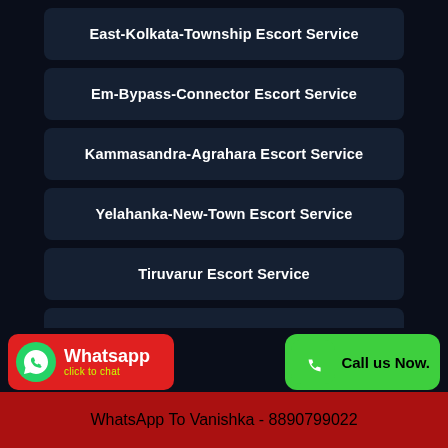East-Kolkata-Township Escort Service
Em-Bypass-Connector Escort Service
Kammasandra-Agrahara Escort Service
Yelahanka-New-Town Escort Service
Tiruvarur Escort Service
Huttanahalli Escort Service
Rmv-2nd-Stage Escort Service
Call Vanishka Now - 8890799022
WhatsApp To Vanishka - 8890799022